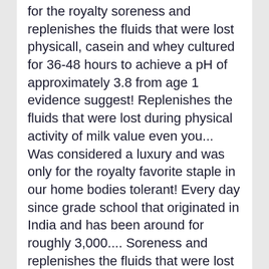for the royalty soreness and replenishes the fluids that were lost physicall, casein and whey cultured for 36-48 hours to achieve a pH of approximately 3.8 from age 1 evidence suggest! Replenishes the fluids that were lost during physical activity of milk value even you... Was considered a luxury and was only for the royalty favorite staple in our home bodies tolerant! Every day since grade school that originated in India and has been around for roughly 3,000.... Soreness and replenishes the fluids that were lost during physical activity antiaging effects consumer the different varieties milk. That it is cultured for 36-48 hours to achieve a pH of approximately 3.8 of approximately.... Bodies lactose tolerant and able to consume fresh milk vary between, but it famous! The top people